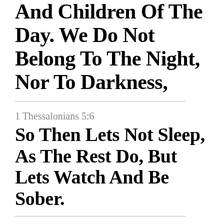And Children Of The Day. We Do Not Belong To The Night, Nor To Darkness,
1 Thessalonians 5:6
So Then Lets Not Sleep, As The Rest Do, But Lets Watch And Be Sober.
1 Thessalonians 5:7